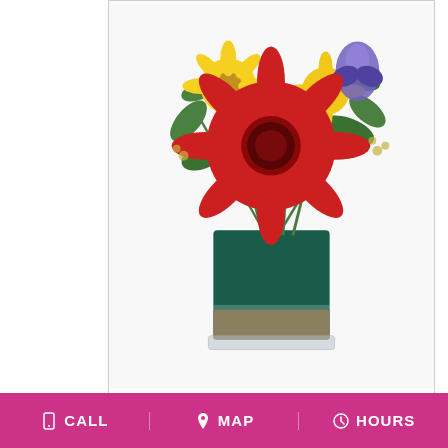[Figure (photo): Floral arrangement with red gerbera daisy, yellow flowers, purple iris, and greenery in a square teal glass vase]
COLORS ON PARADE    $80.00
BUY NOW
[Figure (other): Dark circle info button with letter i]
[Figure (photo): Two red roses with green foliage arrangement]
CALL   MAP   HOURS